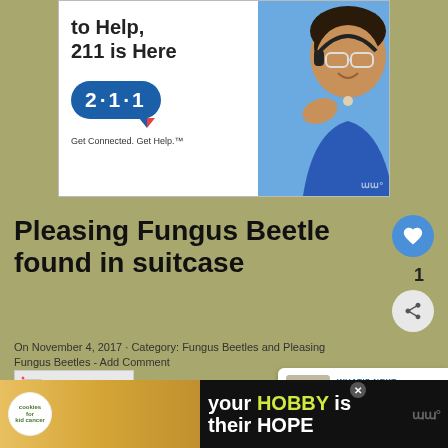[Figure (photo): Advertisement for 211 helpline showing 'to Help, 211 is Here' text with a 2·1·1 chat bubble logo and 'Get Connected. Get Help.' tagline, alongside a photo of a smiling woman wearing glasses and a headset]
Pleasing Fungus Beetle found in suitcase
On November 4, 2017 · Category: Fungus Beetles and Pleasing Fungus Beetles - Add Comment
[Figure (photo): Broken/missing image placeholder for article image]
[Figure (photo): WHAT'S NEXT panel showing American Pelecinid with small insect photo]
[Figure (photo): Advertisement banner at bottom: 'cookies for kid cancer' logo with 'your HOBBY is their HOPE' text on dark background]